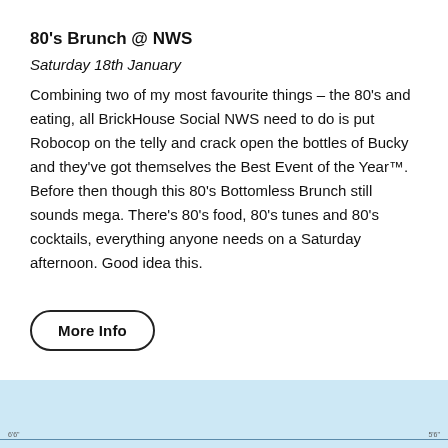80's Brunch @ NWS
Saturday 18th January
Combining two of my most favourite things – the 80's and eating, all BrickHouse Social NWS need to do is put Robocop on the telly and crack open the bottles of Bucky and they've got themselves the Best Event of the Year™. Before then though this 80's Bottomless Brunch still sounds mega. There's 80's food, 80's tunes and 80's cocktails, everything anyone needs on a Saturday afternoon. Good idea this.
More Info
[Figure (map): Partial map view with a horizontal line and coordinate labels '6'6"' on left and '5'6"' on right at the bottom edge]